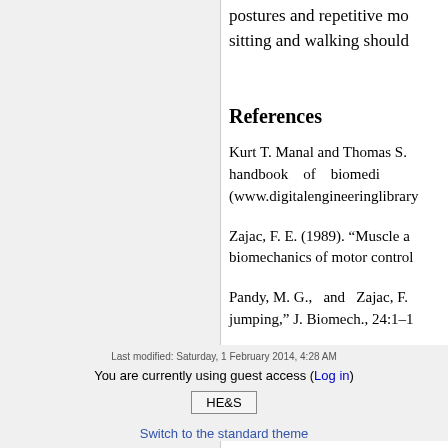postures and repetitive mo... sitting and walking should...
References
Kurt T. Manal and Thomas S. ... handbook of biomedi... (www.digitalengineeringlibrary...
Zajac, F. E. (1989). “Muscle a... biomechanics of motor control...
Pandy, M. G., and Zajac, F. ... jumping,” J. Biomech., 24:1–10...
Last modified: Saturday, 1 February 2014, 4:28 AM
You are currently using guest access (Log in)
HE&S
Switch to the standard theme